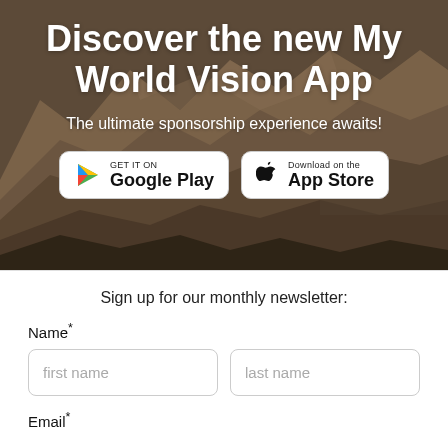[Figure (photo): Mountain landscape with rugged terrain, brown and green hills in background, used as hero background image]
Discover the new My World Vision App
The ultimate sponsorship experience awaits!
[Figure (infographic): Google Play store download badge with colorful triangle logo]
[Figure (infographic): Apple App Store download badge with Apple logo]
Sign up for our monthly newsletter:
Name*
first name
last name
Email*